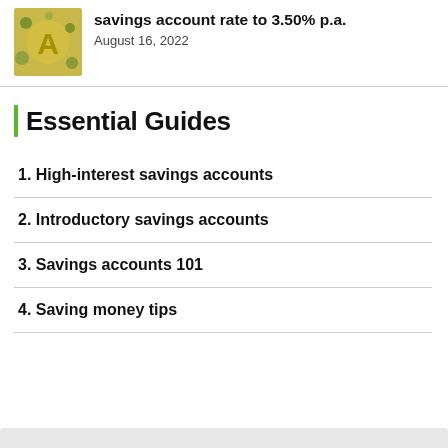[Figure (photo): Gold balloon letters photo thumbnail]
savings account rate to 3.50% p.a.
August 16, 2022
Essential Guides
1. High-interest savings accounts
2. Introductory savings accounts
3. Savings accounts 101
4. Saving money tips